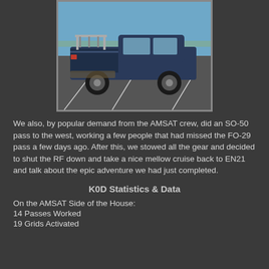[Figure (photo): A dark blue pickup truck with a ladder rack parked in a parking lot, viewed from the side-rear. Clear blue sky in background.]
We also, by popular demand from the AMSAT crew, did an SO-50 pass to the west, working a few people that had missed the FO-29 pass a few days ago. After this, we stowed all the gear and decided to shut the RF down and take a nice mellow cruise back to EN21 and talk about the epic adventure we had just completed.
K0D Statistics & Data
On the AMSAT Side of the House:
14 Passes Worked
19 Grids Activated